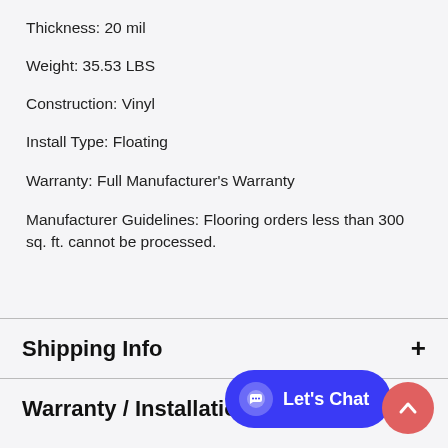Thickness: 20 mil
Weight: 35.53 LBS
Construction: Vinyl
Install Type: Floating
Warranty: Full Manufacturer's Warranty
Manufacturer Guidelines: Flooring orders less than 300 sq. ft. cannot be processed.
Shipping Info
Warranty / Installation